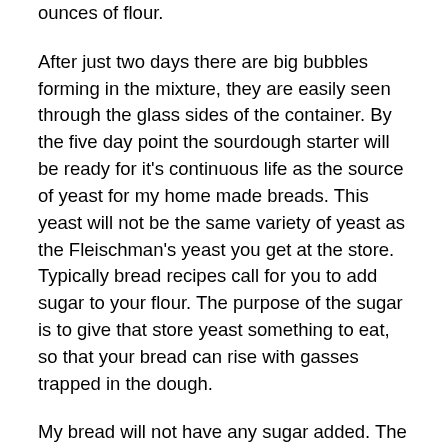ounces of flour.
After just two days there are big bubbles forming in the mixture, they are easily seen through the glass sides of the container. By the five day point the sourdough starter will be ready for it's continuous life as the source of yeast for my home made breads. This yeast will not be the same variety of yeast as the Fleischman's yeast you get at the store. Typically bread recipes call for you to add sugar to your flour. The purpose of the sugar is to give that store yeast something to eat, so that your bread can rise with gasses trapped in the dough.
My bread will not have any sugar added. The yeast will be the kind that can eat glucose instead of fructose. When you add sugar you are encouraging a kind of yeast that does not eat what your flour is made of. The starch in